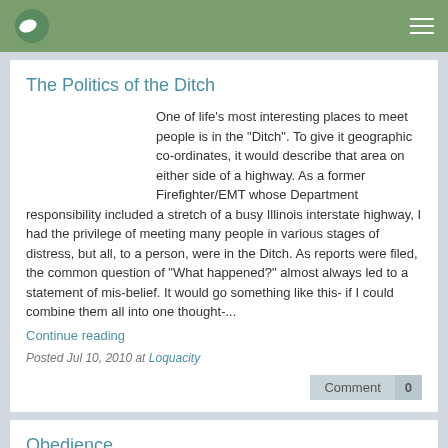Navigation bar with logo and menu
The Politics of the Ditch
One of life's most interesting places to meet people is in the "Ditch". To give it geographic co-ordinates, it would describe that area on either side of a highway. As a former Firefighter/EMT whose Department responsibility included a stretch of a busy Illinois interstate highway, I had the privilege of meeting many people in various stages of distress, but all, to a person, were in the Ditch. As reports were filed, the common question of "What happened?" almost always led to a statement of mis-belief. It would go something like this- if I could combine them all into one thought-...
Continue reading
Posted Jul 10, 2010 at Loquacity
Comment 0
Obedience
Obedient. What images are conjured up when we think about that word? Maybe some soldiers carrying out orders? Stopping at the side of the road when the police flashers are behind your car? I hope this doesn't reveal anything psychological about me when I admit to